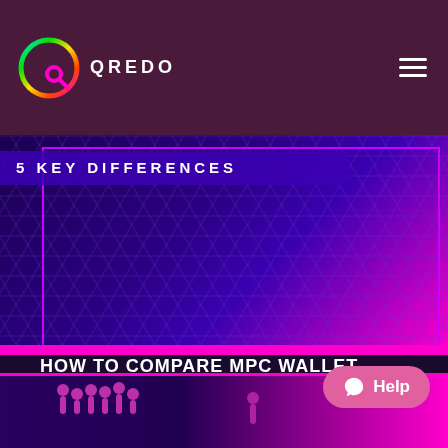QREDO
[Figure (illustration): Hero image with purple/violet hexagonal grid pattern background and a banner reading '5 KEY DIFFERENCES' in white bold uppercase text on a dark blue-purple background, with magenta pink border accents.]
HOW TO COMPARE MPC WALLET PROVIDERS: 5 KEY DIFFERENCES TO CONSIDER
16 June 2022
[Figure (illustration): Partial bottom preview strip showing a dark purple background with magenta border and partial figures/icons visible, part of another article card.]